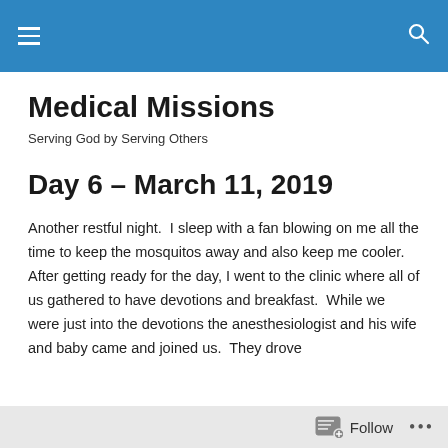Medical Missions — navigation bar with hamburger menu and search icon
Medical Missions
Serving God by Serving Others
Day 6 – March 11, 2019
Another restful night.  I sleep with a fan blowing on me all the time to keep the mosquitos away and also keep me cooler.  After getting ready for the day, I went to the clinic where all of us gathered to have devotions and breakfast.  While we were just into the devotions the anesthesiologist and his wife and baby came and joined us.  They drove
Follow •••